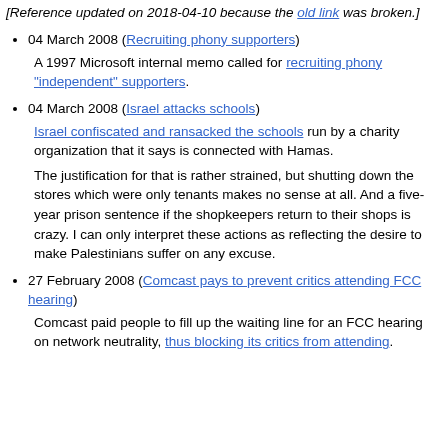[Reference updated on 2018-04-10 because the old link was broken.]
04 March 2008 (Recruiting phony supporters)
A 1997 Microsoft internal memo called for recruiting phony "independent" supporters.
04 March 2008 (Israel attacks schools)
Israel confiscated and ransacked the schools run by a charity organization that it says is connected with Hamas.
The justification for that is rather strained, but shutting down the stores which were only tenants makes no sense at all. And a five-year prison sentence if the shopkeepers return to their shops is crazy. I can only interpret these actions as reflecting the desire to make Palestinians suffer on any excuse.
27 February 2008 (Comcast pays to prevent critics attending FCC hearing)
Comcast paid people to fill up the waiting line for an FCC hearing on network neutrality, thus blocking its critics from attending.